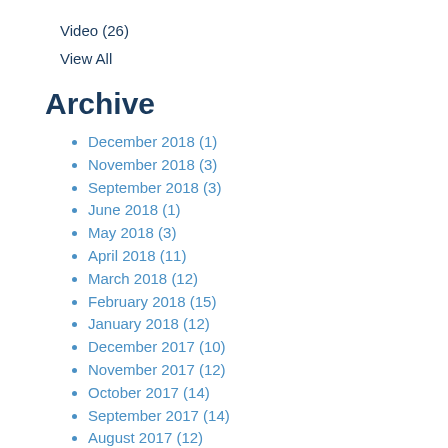Video (26)
View All
Archive
December 2018 (1)
November 2018 (3)
September 2018 (3)
June 2018 (1)
May 2018 (3)
April 2018 (11)
March 2018 (12)
February 2018 (15)
January 2018 (12)
December 2017 (10)
November 2017 (12)
October 2017 (14)
September 2017 (14)
August 2017 (12)
July 2017 (16)